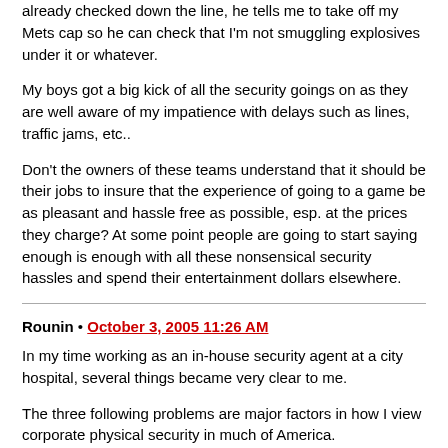already checked down the line, he tells me to take off my Mets cap so he can check that I'm not smuggling explosives under it or whatever.
My boys got a big kick of all the security goings on as they are well aware of my impatience with delays such as lines, traffic jams, etc..
Don't the owners of these teams understand that it should be their jobs to insure that the experience of going to a game be as pleasant and hassle free as possible, esp. at the prices they charge? At some point people are going to start saying enough is enough with all these nonsensical security hassles and spend their entertainment dollars elsewhere.
Rounin • October 3, 2005 11:26 AM
In my time working as an in-house security agent at a city hospital, several things became very clear to me.
The three following problems are major factors in how I view corporate physical security in much of America.
Your mileage may vary.